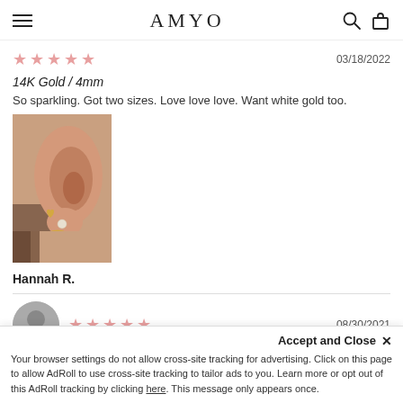AMYO
03/18/2022
14K Gold / 4mm
So sparkling. Got two sizes. Love love love. Want white gold too.
[Figure (photo): Close-up photo of a person's ear wearing small gold heart stud earring and a pearl/ball earring with a gold hoop earring below]
Hannah R.
08/30/2021
Accept and Close ×
Your browser settings do not allow cross-site tracking for advertising. Click on this page to allow AdRoll to use cross-site tracking to tailor ads to you. Learn more or opt out of this AdRoll tracking by clicking here. This message only appears once.